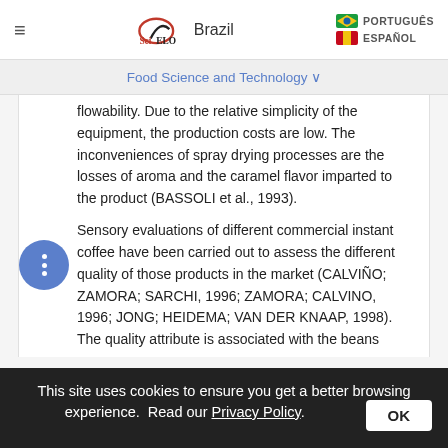SciELO Brazil | PORTUGUÊS | ESPAÑOL
Food Science and Technology
flowability. Due to the relative simplicity of the equipment, the production costs are low. The inconveniences of spray drying processes are the losses of aroma and the caramel flavor imparted to the product (BASSOLI et al., 1993).
Sensory evaluations of different commercial instant coffee have been carried out to assess the different quality of those products in the market (CALVIÑO; ZAMORA; SARCHI, 1996; ZAMORA; CALVINO, 1996; JONG; HEIDEMA; VAN DER KNAAP, 1998). The quality attribute is associated with the beans
This site uses cookies to ensure you get a better browsing experience. Read our Privacy Policy. OK